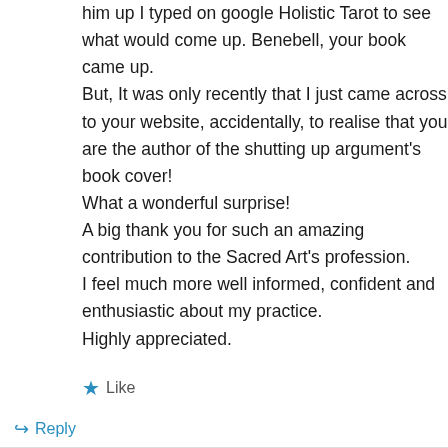him up I typed on google Holistic Tarot to see what would come up. Benebell, your book came up.
But, It was only recently that I just came across to your website, accidentally, to realise that you are the author of the shutting up argument's book cover!
What a wonderful surprise!
A big thank you for such an amazing contribution to the Sacred Art's profession.
I feel much more well informed, confident and enthusiastic about my practice.
Highly appreciated.
Like
Reply